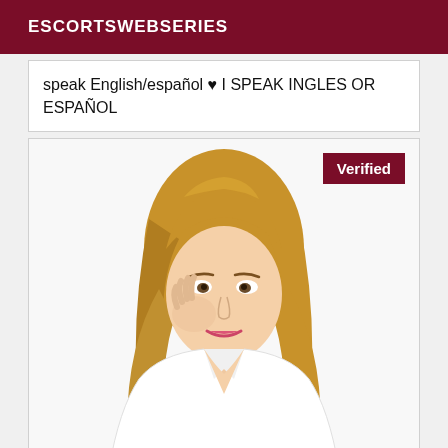ESCORTSWEBSERIES
speak English/español ♥ I SPEAK INGLES OR ESPAÑOL
[Figure (photo): Portrait photo of a blonde woman wearing a white blazer, resting her cheek on her hand, looking upward, with a 'Verified' badge in the top right corner]